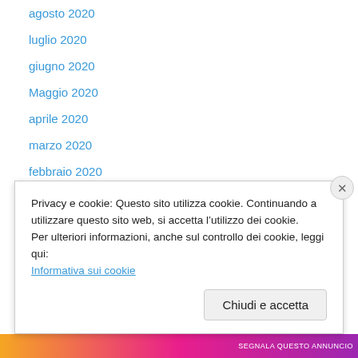agosto 2020
luglio 2020
giugno 2020
Maggio 2020
aprile 2020
marzo 2020
febbraio 2020
gennaio 2020
dicembre 2019
novembre 2019
ottobre 2019
settembre 2019
agosto 2019
luglio 2019
Privacy e cookie: Questo sito utilizza cookie. Continuando a utilizzare questo sito web, si accetta l’utilizzo dei cookie.
Per ulteriori informazioni, anche sul controllo dei cookie, leggi qui:
Informativa sui cookie
Chiudi e accetta